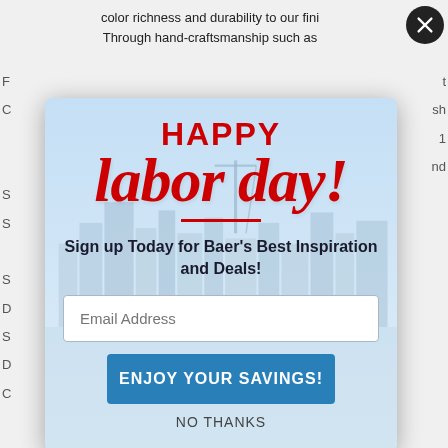color richness and durability to our fini
Through hand-craftsmanship such as
[Figure (screenshot): Labor Day promotional popup modal overlay on a website. The popup has a light blue gradient background with a city skyline. It shows 'HAPPY' in bold red uppercase, 'labor day!' in large red italic script, a red divider line, text 'Sign up Today for Baer's Best Inspiration and Deals!', an email address input field, a blue 'ENJOY YOUR SAVINGS!' button, and a 'NO THANKS' text link. A close (X) button is in the top right corner.]